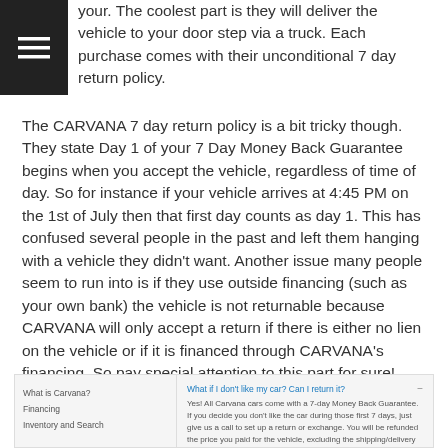your. The coolest part is they will deliver the vehicle to your door step via a truck. Each purchase comes with their unconditional 7 day return policy.
The CARVANA 7 day return policy is a bit tricky though. They state Day 1 of your 7 Day Money Back Guarantee begins when you accept the vehicle, regardless of time of day. So for instance if your vehicle arrives at 4:45 PM on the 1st of July then that first day counts as day 1. This has confused several people in the past and left them hanging with a vehicle they didn't want. Another issue many people seem to run into is if they use outside financing (such as your own bank) the vehicle is not returnable because CARVANA will only accept a return if there is either no lien on the vehicle or if it is financed through CARVANA's financing. So pay special attention to this part for sure!
[Figure (screenshot): FAQ section showing Carvana help topics on the left (What is Carvana?, Financing, Inventory and Search) and on the right a question 'What if I don't like my car? Can I return it?' with an answer about the 7-day Money Back Guarantee.]